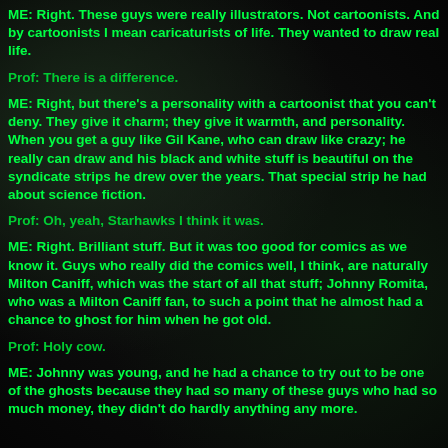ME: Right. These guys were really illustrators. Not cartoonists. And by cartoonists I mean caricaturists of life. They wanted to draw real life.
Prof: There is a difference.
ME: Right, but there's a personality with a cartoonist that you can't deny. They give it charm; they give it warmth, and personality. When you get a guy like Gil Kane, who can draw like crazy; he really can draw and his black and white stuff is beautiful on the syndicate strips he drew over the years. That special strip he had about science fiction.
Prof: Oh, yeah, Starhawks I think it was.
ME: Right. Brilliant stuff. But it was too good for comics as we know it. Guys who really did the comics well, I think, are naturally Milton Caniff, which was the start of all that stuff; Johnny Romita, who was a Milton Caniff fan, to such a point that he almost had a chance to ghost for him when he got old.
Prof: Holy cow.
ME: Johnny was young, and he had a chance to try out to be one of the ghosts because they had so many of these guys who had so much money, they didn't do hardly anything any more.